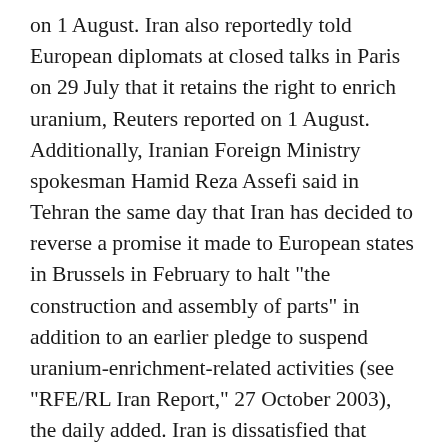on 1 August. Iran also reportedly told European diplomats at closed talks in Paris on 29 July that it retains the right to enrich uranium, Reuters reported on 1 August. Additionally, Iranian Foreign Ministry spokesman Hamid Reza Assefi said in Tehran the same day that Iran has decided to reverse a promise it made to European states in Brussels in February to halt "the construction and assembly of parts" in addition to an earlier pledge to suspend uranium-enrichment-related activities (see "RFE/RL Iran Report," 27 October 2003), the daily added. Iran is dissatisfied that France, Britain, and Germany have failed to get UN nuclear inspectors to clear Iran's nuclear dossier, a move that would end the current scrutiny of its nuclear activities. The United States is concerned that Iran might develop nuclear weapons, a charge Iran rejects. Assefi said Iran suspended uranium enrichment "to build confidence and show